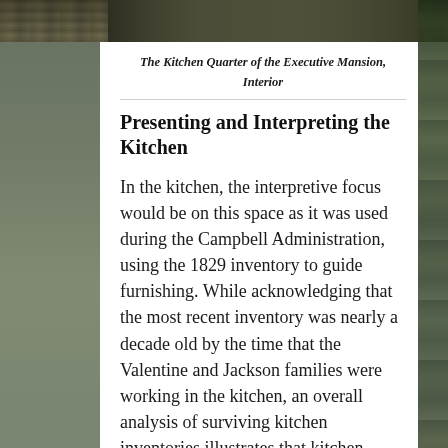[Figure (photo): Photograph strip at the top of the page showing exterior view of a historic mansion or grounds, partially visible]
The Kitchen Quarter of the Executive Mansion, Interior
Presenting and Interpreting the Kitchen
In the kitchen, the interpretive focus would be on this space as it was used during the Campbell Administration, using the 1829 inventory to guide furnishing. While acknowledging that the most recent inventory was nearly a decade old by the time that the Valentine and Jackson families were working in the kitchen, an overall analysis of surviving kitchen inventories illustrates that kitchen furniture and cooking equipment was updated only when absolutely necessary